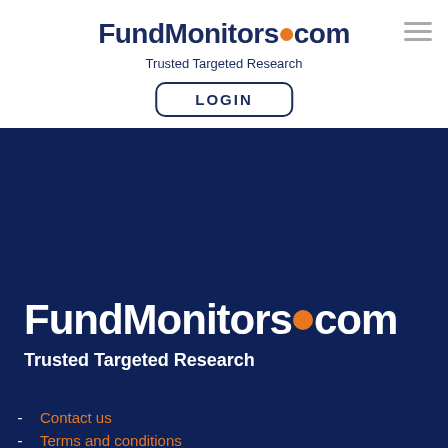FundMonitors.com — Trusted Targeted Research
[Figure (logo): FundMonitors.com logo with orange dot, header version, with LOGIN button and hamburger menu]
[Figure (logo): FundMonitors.com logo with orange dot, large white version on dark navy background with tagline Trusted Targeted Research]
Contact us
Terms and conditions
Privacy
Republishing and Reprints
Glossary of Terms
Disclaimer
Investor Acknowledgement